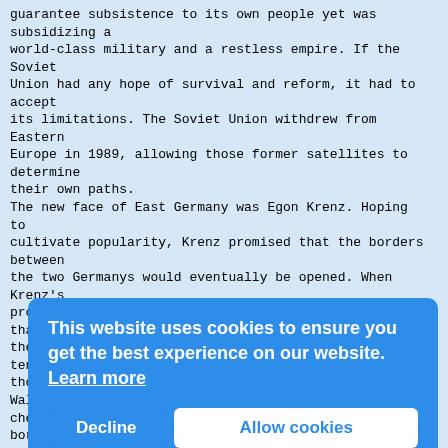guarantee subsistence to its own people yet was subsidizing a world-class military and a restless empire. If the Soviet Union had any hope of survival and reform, it had to accept its limitations. The Soviet Union withdrew from Eastern Europe in 1989, allowing those former satellites to determine their own paths.
The new face of East Germany was Egon Krenz. Hoping to cultivate popularity, Krenz promised that the borders between the two Germanys would eventually be opened. When Krenz's propaganda minister announced on November 9, 1989, that the border would be opened for private trips abroad, tens of thousands of East Germans quickly assembled at the Wall's checkpoints, demanding access to West Berlin. The border guards were overwhelmed by the multitude, and no one in the government dared to oppose the popular surge. The gates went up and the crowd came pouring through. The Berlin Wall no longer had a purpose.
Without the Wall, there was no East Germany. It was
This website uses cookies to ensure you get the best experience on our website. Learn more
Decline   Allow cookies